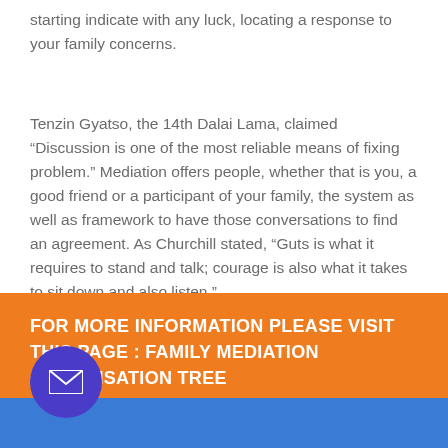starting indicate with any luck, locating a response to your family concerns.
Tenzin Gyatso, the 14th Dalai Lama, claimed “Discussion is one of the most reliable means of fixing problem.” Mediation offers people, whether that is you, a good friend or a participant of your family, the system as well as framework to have those conversations to find an agreement. As Churchill stated, “Guts is what it requires to stand and talk; courage is also what it takes to sit down and also listen.”
FOR MORE INFORMATION PLEASE VISIT THIS PAGE : FAMILY MEDIATION ORGANISATION TREE